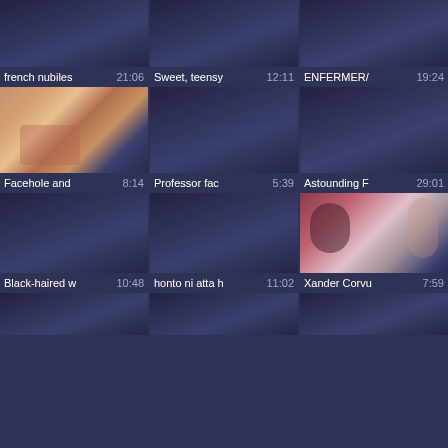[Figure (screenshot): Video thumbnail grid showing adult video website with 9 visible thumbnails in 3 columns. Row 1: dark thumbnails. Row 2: one explicit thumbnail (Facehole), two dark. Row 3: two dark, one with women. Row 4 partial: three dark thumbnails. Labels with titles and durations shown below each thumbnail.]
french nubiles 21:06 | Sweet, teensy 12:11 | ENFERMER/ 19:24
Facehole and 8:14 | Professor fac 5:39 | Astounding F 29:01
Black-haired w 10:48 | honto ni atta h 11:02 | Xander Corvu 7:59